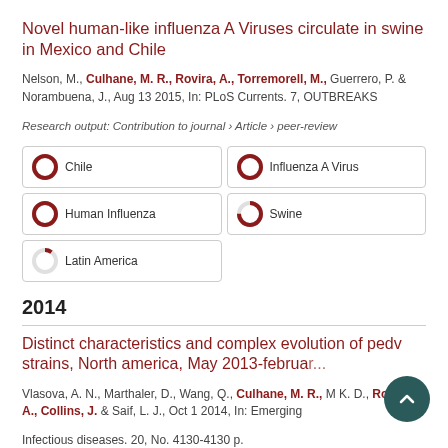Novel human-like influenza A Viruses circulate in swine in Mexico and Chile
Nelson, M., Culhane, M. R., Rovira, A., Torremorell, M., Guerrero, P. & Norambuena, J., Aug 13 2015, In: PLoS Currents. 7, OUTBREAKS
Research output: Contribution to journal › Article › peer-review
[Figure (infographic): Four keyword badge icons with donut/pie progress indicators: Chile (100%), Influenza A Virus (100%), Human Influenza (100%), Swine (75%), Latin America (10%)]
2014
Distinct characteristics and complex evolution of pedv strains, North america, May 2013-february...
Vlasova, A. N., Marthaler, D., Wang, Q., Culhane, M. R., M K. D., Rovira, A., Collins, J. & Saif, L. J., Oct 1 2014, In: Emerging Infectious diseases. 20, No. 4130-4130 p.